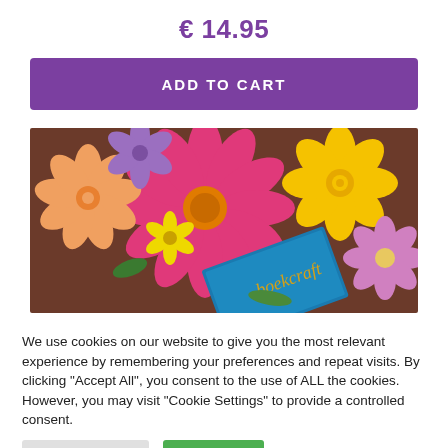€ 14.95
ADD TO CART
[Figure (photo): Close-up photograph of colorful flowers (pink daisy, yellow ranunculus, pink carnation, lavender flowers) with a blue book with gold script text partially visible in the foreground on a wooden surface.]
We use cookies on our website to give you the most relevant experience by remembering your preferences and repeat visits. By clicking "Accept All", you consent to the use of ALL the cookies. However, you may visit "Cookie Settings" to provide a controlled consent.
Cookie Settings
Accept All